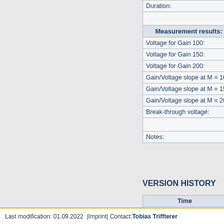| Field | Value |
| --- | --- |
| Duration: |  |
|  |  |
| Measurement results: |  |
| Voltage for Gain 100: |  |
| Voltage for Gain 150: |  |
| Voltage for Gain 200: |  |
| Gain/Voltage slope at M = 100: |  |
| Gain/Voltage slope at M = 150: |  |
| Gain/Voltage slope at M = 200: |  |
| Break-through voltage: |  |
|  |  |
| Notes: |  |
VERSION HISTORY
| Time |  |
| --- | --- |
| 16. Apr 2021 22:02:58 CEST | jn |
| 05. Feb 2021 11:36:43 CET | jn |
| 08. Oct 2020 18:19:27 CEST | jn |
| 22. Jun 2016 15:39:39 CEST | T |
Last modification: 01.09.2022  | Imprint | Contact: Tobias Triffterer